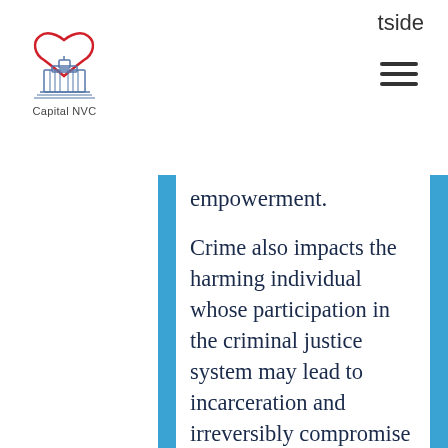[Figure (logo): Capital NVC logo with red heart and capitol building illustration, text 'Capital NVC' below]
tside
empowerment.
Crime also impacts the harming individual whose participation in the criminal justice system may lead to incarceration and irreversibly compromise their long-term civil rights, as well as access to work, housing, financing, and other resources. Even when there are no criminal sanctions, they must live with the psychological consequences of their actions. A restorative alternative to the criminal justice system mitigates, or altogether avoids, these physical, socioeconomic and psychological impacts, while